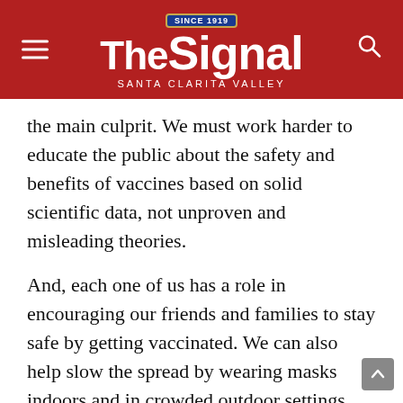The Signal — Santa Clarita Valley
the main culprit. We must work harder to educate the public about the safety and benefits of vaccines based on solid scientific data, not unproven and misleading theories.
And, each one of us has a role in encouraging our friends and families to stay safe by getting vaccinated. We can also help slow the spread by wearing masks indoors and in crowded outdoor settings.
The alternative is not desirable and would carry a high price in the form of lives lost and a forever